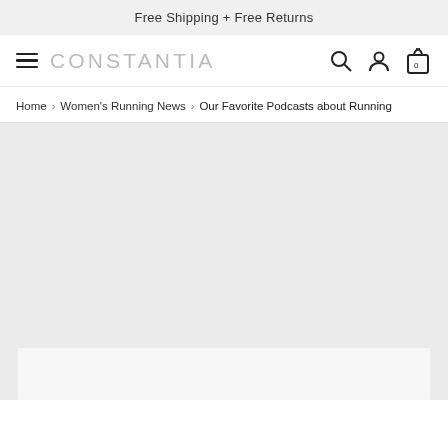Free Shipping + Free Returns
CONSTANTIA
Home > Women's Running News > Our Favorite Podcasts about Running
[Figure (photo): Large hero image placeholder area with light gray background, followed by a card placeholder at the bottom]